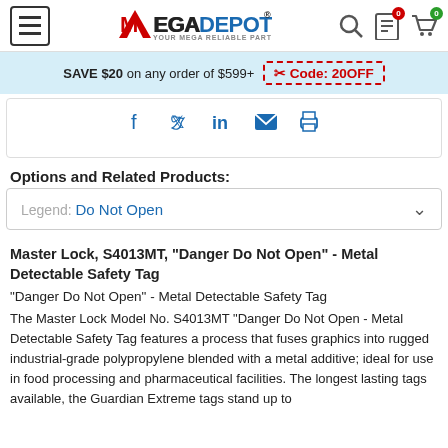MEGADEPOT® - YOUR MEGA RELIABLE PARTNER
SAVE $20 on any order of $599+ Code: 20OFF
[Figure (other): Social sharing icons: Facebook, Twitter, LinkedIn, Email, Print]
Options and Related Products:
Legend: Do Not Open
Master Lock, S4013MT, "Danger Do Not Open" - Metal Detectable Safety Tag
"Danger Do Not Open" - Metal Detectable Safety Tag
The Master Lock Model No. S4013MT "Danger Do Not Open - Metal Detectable Safety Tag features a process that fuses graphics into rugged industrial-grade polypropylene blended with a metal additive; ideal for use in food processing and pharmaceutical facilities. The longest lasting tags available, the Guardian Extreme tags stand up to